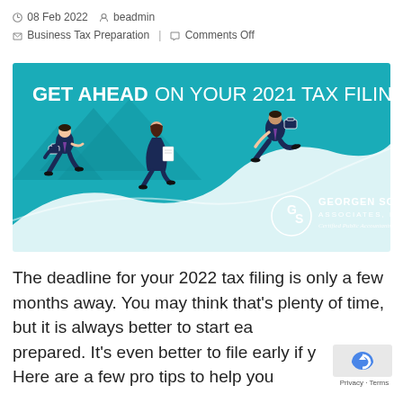08 Feb 2022  beadmin  Business Tax Preparation  Comments Off
[Figure (illustration): Promotional banner with teal background showing three animated business people running, with text 'GET AHEAD ON YOUR 2021 TAX FILING' and Georgen Scarborough Associates, PC logo]
The deadline for your 2022 tax filing is only a few months away. You may think that's plenty of time, but it is always better to start early and be prepared. It's even better to file early if you can. Here are a few pro tips to help you avoid…